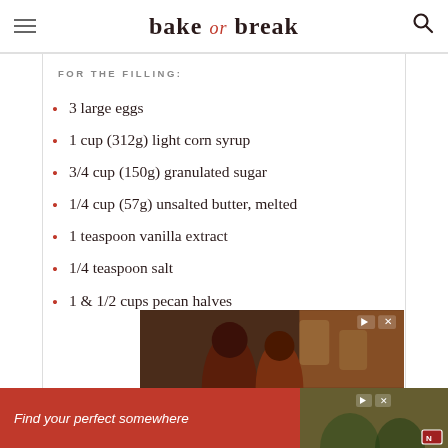bake or break
FOR THE FILLING:
3 large eggs
1 cup (312g) light corn syrup
3/4 cup (150g) granulated sugar
1/4 cup (57g) unsalted butter, melted
1 teaspoon vanilla extract
1/4 teaspoon salt
1 & 1/2 cups pecan halves
[Figure (photo): Advertisement banner with people figures on dark brown background]
[Figure (photo): Bottom advertisement banner: Find your perfect somewhere, red background with landscape photo]